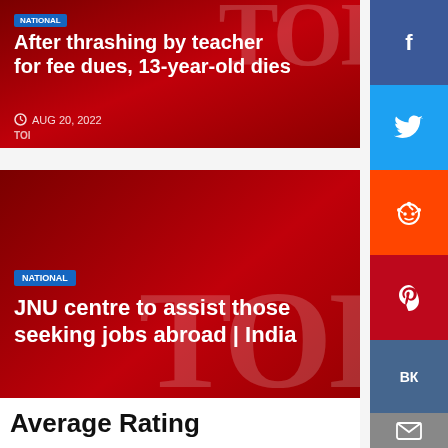[Figure (screenshot): TOI news card with dark red background showing headline: After thrashing by teacher for fee dues, 13-year-old dies. Dated AUG 20, 2022. TOI source.]
[Figure (screenshot): TOI news card with dark red background and NATIONAL badge showing headline: JNU centre to assist those seeking jobs abroad | India. Dated AUG 20, 2022. TOI source.]
Average Rating